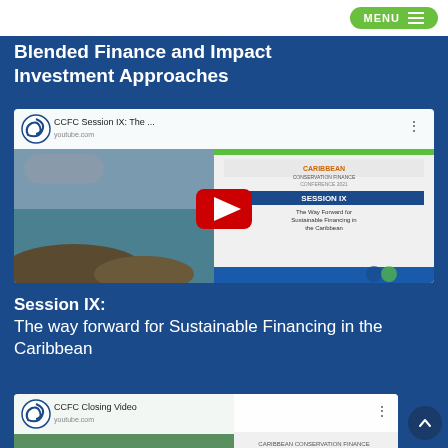MENU
Blended Finance and Impact Investment Approaches
[Figure (screenshot): YouTube video thumbnail for CCFC Session IX with play button overlay, showing a Caribbean marine/reef scene on the left and a conference session banner on the right reading 'SESSION IX: The Way Forward for Sustainable Financing in the Caribbean']
Session IX: The way forward for Sustainable Financing in the Caribbean
[Figure (screenshot): YouTube video thumbnail for CCFC Closing Video]